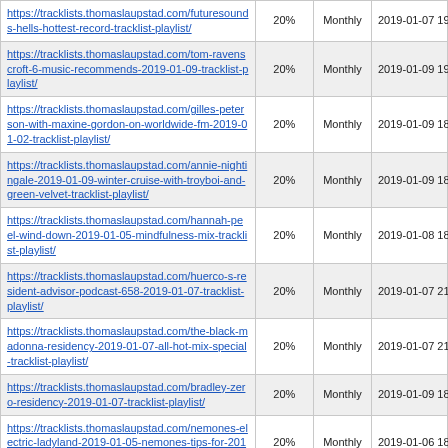| URL | Change Frequency | Priority | Last Modified |
| --- | --- | --- | --- |
| https://tracklists.thomaslaupstad.com/future-sounds-hells-hottest-record-tracklist-playlist/ | 20% | Monthly | 2019-01-07 19:15 |
| https://tracklists.thomaslaupstad.com/tom-ravenscroft-6-music-recommends-2019-01-09-tracklist-playlist/ | 20% | Monthly | 2019-01-09 19:08 |
| https://tracklists.thomaslaupstad.com/gilles-peterson-with-maxine-gordon-on-worldwide-fm-2019-01-02-tracklist-playlist/ | 20% | Monthly | 2019-01-09 18:50 |
| https://tracklists.thomaslaupstad.com/annie-nightingale-2019-01-09-winter-cruise-with-troyboi-and-green-velvet-tracklist-playlist/ | 20% | Monthly | 2019-01-09 18:32 |
| https://tracklists.thomaslaupstad.com/hannah-peel-wind-down-2019-01-05-mindfulness-mix-tracklist-playlist/ | 20% | Monthly | 2019-01-08 18:03 |
| https://tracklists.thomaslaupstad.com/huerco-s-resident-advisor-podcast-658-2019-01-07-tracklist-playlist/ | 20% | Monthly | 2019-01-07 21:05 |
| https://tracklists.thomaslaupstad.com/the-black-madonna-residency-2019-01-07-all-hot-mix-special-tracklist-playlist/ | 20% | Monthly | 2019-01-07 21:00 |
| https://tracklists.thomaslaupstad.com/bradley-zero-residency-2019-01-07-tracklist-playlist/ | 20% | Monthly | 2019-01-09 18:28 |
| https://tracklists.thomaslaupstad.com/nemones-electric-ladyland-2019-01-05-nemones-tips-for-2019-tracklist-playlist/ | 20% | Monthly | 2019-01-06 18:28 |
| https://tracklists.thomaslaupstad.com/iggy-pop-2019-01-04-iggy-confidential-kicking-off-with-a-stone-cold-classic-from-mik-artistiks-ego-trip-tracklist-playlist/ | 20% | Monthly | 2019-01-06 18:09 |
| https://tracklists.thomaslaupstad.com/c-z-diplo-friends-2019-01-06-tracklist-playlist/ | 20% | Monthly | 2019-01-06 10:59 |
| https://tracklists.thomaslaupstad.com/tynan-diplo-friends-2019-01-05-tracklist-playlist/ | 20% | Monthly | 2019-01-06 10:52 |
| https://tracklists.thomaslaupstad.com/craig-... | 20% | Monthly | 2019-01-06 |